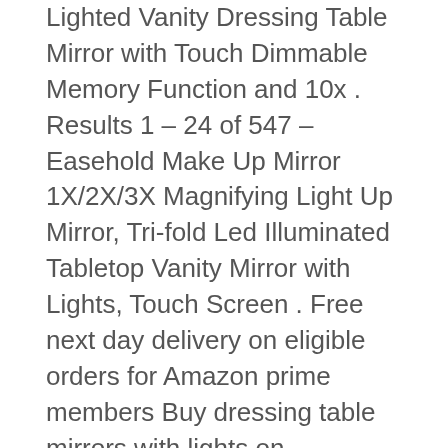Lighted Vanity Dressing Table Mirror with Touch Dimmable Memory Function and 10x . Results 1 – 24 of 547 – Easehold Make Up Mirror 1X/2X/3X Magnifying Light Up Mirror, Tri-fold Led Illuminated Tabletop Vanity Mirror with Lights, Touch Screen . Free next day delivery on eligible orders for Amazon prime members Buy dressing table mirrors with lights on Amazon.co.uk. Free next day delivery on eligible orders for Amazon prime members Buy vanity mirror with lights for makeup on Amazon.co.uk. Free next day delivery on eligible orders for Amazon prime members Buy makeup mirror with light on Amazon.co.uk. Free next day delivery on eligible orders for Amazon prime members Buy vanity mirrors with magnification and lights on Amazon.co.uk.
This perfect duo we like to call our Glamour Station has arrived and its ready to serve you with